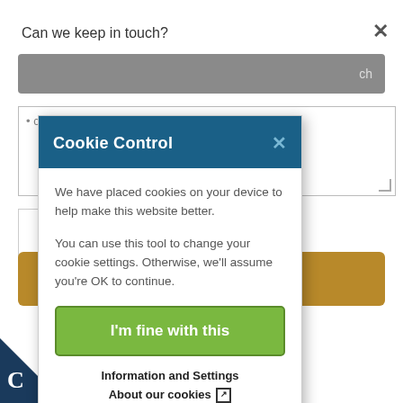Can we keep in touch?
[Figure (screenshot): Cookie Control modal dialog overlay on a webpage. The modal has a dark teal header reading 'Cookie Control' with an X close button. Body text explains cookies and settings. A green 'I'm fine with this' button is shown, followed by 'Information and Settings' and 'About our cookies' links. Background shows a search bar, textarea, gold button, social media icons (Facebook, Twitter, Email, Share), and a C logo in the bottom-left corner.]